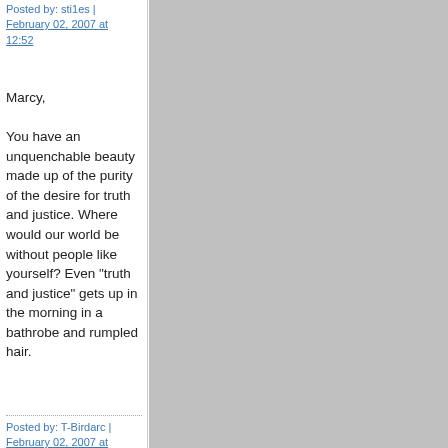Posted by: sti1es | February 02, 2007 at 12:52
Marcy,

You have an unquenchable beauty made up of the purity of the desire for truth and justice. Where would our world be without people like yourself? Even "truth and justice" gets up in the morning in a bathrobe and rumpled hair.
Posted by: T-Birdarc | February 02, 2007 at 13:04